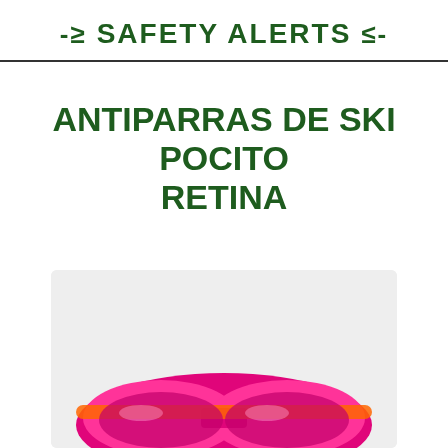≥ SAFETY ALERTS ≤
ANTIPARRAS DE SKI POCITO RETINA
[Figure (photo): Product photo of ski goggles (Antiparras de Ski Pocito Retina) with pink/magenta and orange frame, shown on a light gray background.]